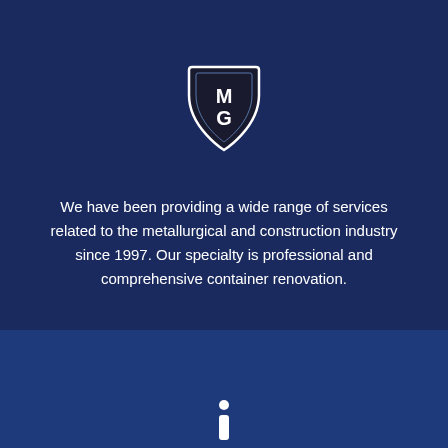[Figure (logo): MG shield logo — black shield shape with white letters M on top and G on bottom, white outline border]
We have been providing a wide range of services related to the metallurgical and construction industry since 1997. Our specialty is professional and comprehensive container renovation.
[Figure (logo): Partial icon visible at bottom of page, white on blue background]